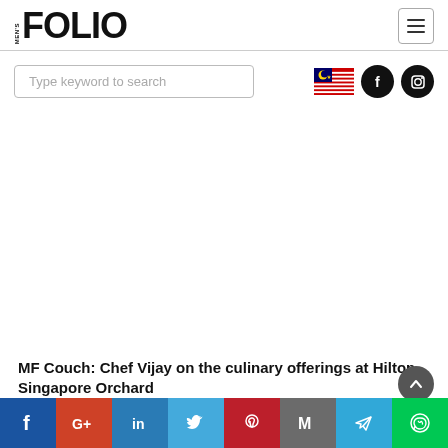MEN'S FOLIO
[Figure (screenshot): Search box with placeholder 'Type keyword to search', Malaysian flag icon, Facebook icon, Instagram icon]
MF Couch: Chef Vijay on the culinary offerings at Hilton Singapore Orchard
[Figure (infographic): Social sharing bar with icons: Facebook (blue), Google+ (red), LinkedIn (blue), Twitter (light blue), Pinterest (dark red), Gmail (grey), Telegram (blue), WhatsApp (green)]